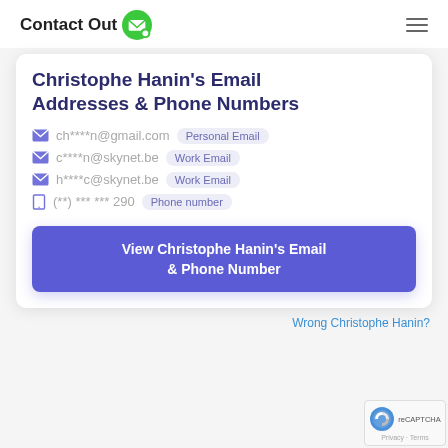ContactOut
Christophe Hanin's Email Addresses & Phone Numbers
ch****n@gmail.com  Personal Email
c****n@skynet.be  Work Email
h****c@skynet.be  Work Email
(**) *** *** 290  Phone number
View Christophe Hanin's Email & Phone Number
Wrong Christophe Hanin?